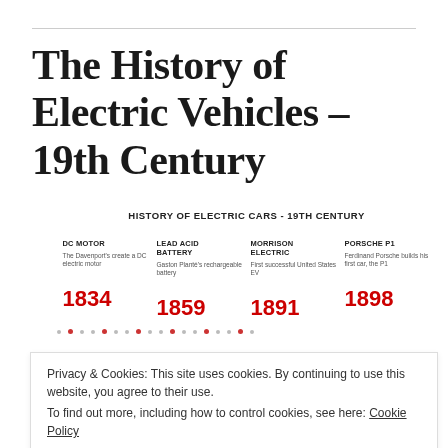The History of Electric Vehicles – 19th Century
[Figure (infographic): Timeline infographic titled 'HISTORY OF ELECTRIC CARS - 19TH CENTURY' showing four milestones: DC MOTOR 1834 (The Davenport's create a DC electric motor), LEAD ACID BATTERY 1859 (Gaston Planté's rechargeable battery), MORRISON ELECTRIC 1891 (First successful United States EV), PORSCHE P1 1898 (Ferdinand Porsche builds his first car, the P1)]
Privacy & Cookies: This site uses cookies. By continuing to use this website, you agree to their use.
To find out more, including how to control cookies, see here: Cookie Policy
Close and accept